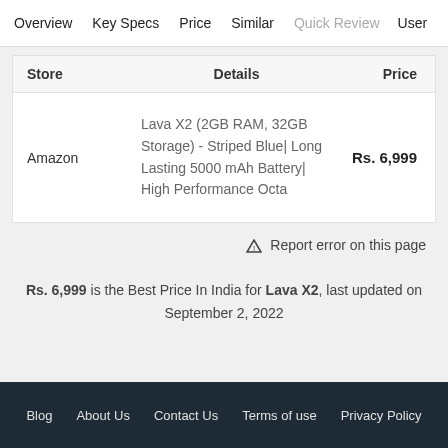Overview | Key Specs | Price | Similar | Quick Review | User
| Store | Details | Price |
| --- | --- | --- |
| Amazon | Lava X2 (2GB RAM, 32GB Storage) - Striped Blue| Long Lasting 5000 mAh Battery| High Performance Octa | Rs. 6,999 |
⚠ Report error on this page
Rs. 6,999 is the Best Price In India for Lava X2, last updated on September 2, 2022
Blog | About Us | Contact Us | Terms of use | Privacy Policy